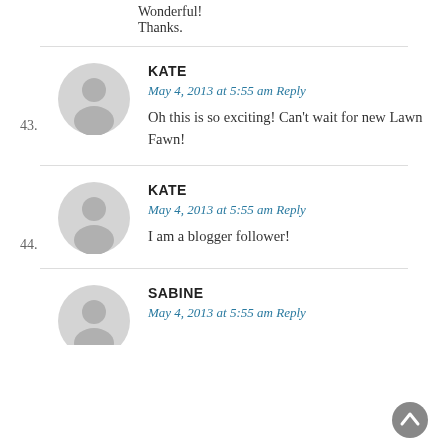Wonderful!
Thanks.
43. KATE — May 4, 2013 at 5:55 am Reply — Oh this is so exciting! Can't wait for new Lawn Fawn!
44. KATE — May 4, 2013 at 5:55 am Reply — I am a blogger follower!
SABINE — May 4, 2013 at 5:55 am Reply